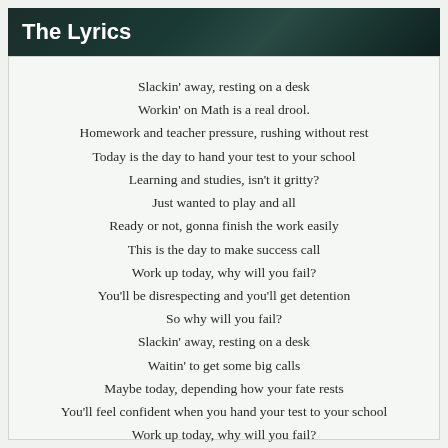The Lyrics
Slackin' away, resting on a desk
Workin' on Math is a real drool.
Homework and teacher pressure, rushing without rest
Today is the day to hand your test to your school
Learning and studies, isn't it gritty?
Just wanted to play and all
Ready or not, gonna finish the work easily
This is the day to make success call
Work up today, why will you fail?
You'll be disrespecting and you'll get detention
So why will you fail?
Slackin' away, resting on a desk
Waitin' to get some big calls
Maybe today, depending how your fate rests
You'll feel confident when you hand your test to your school
Work up today, why will you fail?